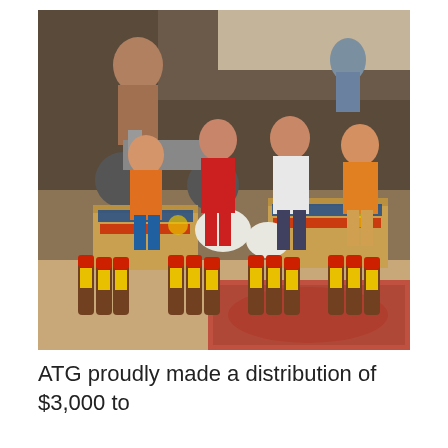[Figure (photo): Outdoor photo showing four children standing behind rows of bottles and cardboard boxes containing goods. An adult on a motorcycle is visible in the background. The setting appears to be a dusty outdoor area, likely in Cambodia. The children are wearing colorful clothes. The boxes are labeled in Khmer script.]
ATG proudly made a distribution of $3,000 to